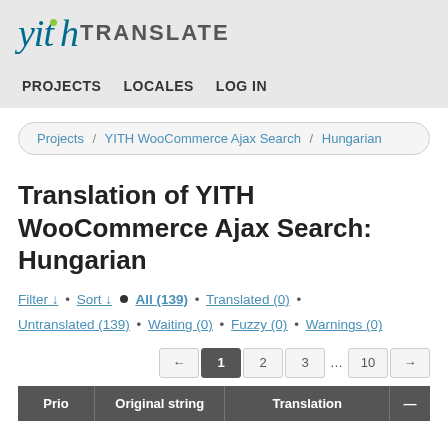[Figure (logo): YITH Translate logo with teal italic text 'yith', a green dot, and bold gray 'TRANSLATE' text]
PROJECTS   LOCALES   LOG IN
Projects / YITH WooCommerce Ajax Search / Hungarian
Translation of YITH WooCommerce Ajax Search: Hungarian
Filter ↓ • Sort ↓ ● All (139) • Translated (0) • Untranslated (139) • Waiting (0) • Fuzzy (0) • Warnings (0)
← 1 2 3 … 10 →
| Prio | Original string | Translation | — |
| --- | --- | --- | --- |